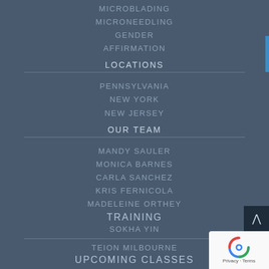MICROBLADING
MICRONEEDLING
GENDER
AFFIRMATION
LOCATIONS
PENNSYLVANIA
NEW YORK
NEW JERSEY
OUR TEAM
MANDY SAULER
MONICA BARNES
CARLA SANCHEZ
KRIS FERNICOLA
MADELEINE ORTHEY
TRAINING
SOKHA YIN
TEION MILBOURNE
UPCOMING CLASSES